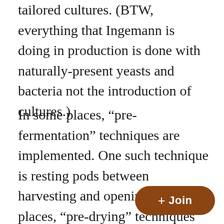tailored cultures. (BTW, everything that Ingemann is doing in production is done with naturally-present yeasts and bacteria not the introduction of cultures.)
In some places, “pre-fermentation” techniques are implemented. One such technique is resting pods between harvesting and opening. In other places, “pre-drying” techniques are implemented. One such technique is to put the beans in sacks after fermentation is complete and letting them sit in the sacks over... this is another fermentation step, not... step because there is little to no moisture loss in